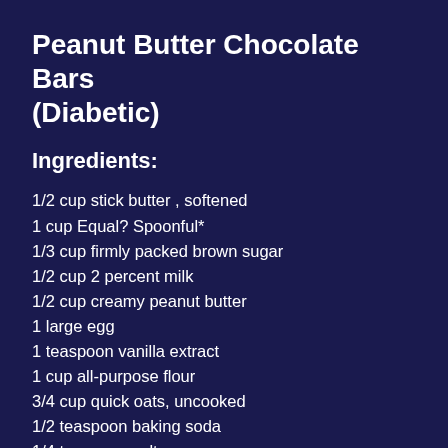Peanut Butter Chocolate Bars (Diabetic)
Ingredients:
1/2 cup stick butter , softened
1 cup Equal? Spoonful*
1/3 cup firmly packed brown sugar
1/2 cup 2 percent milk
1/2 cup creamy peanut butter
1 large egg
1 teaspoon vanilla extract
1 cup all-purpose flour
3/4 cup quick oats, uncooked
1/2 teaspoon baking soda
1/4 teaspoon salt
3/4 cup mini semi-sweet chocolate chips